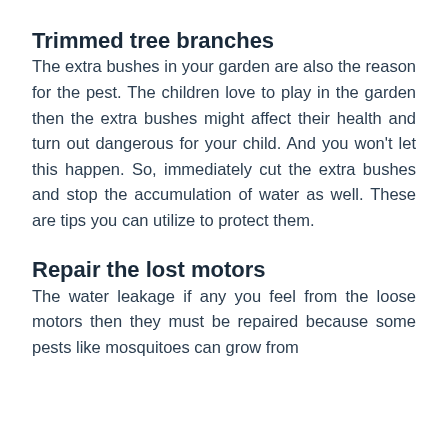Trimmed tree branches
The extra bushes in your garden are also the reason for the pest. The children love to play in the garden then the extra bushes might affect their health and turn out dangerous for your child. And you won't let this happen. So, immediately cut the extra bushes and stop the accumulation of water as well. These are tips you can utilize to protect them.
Repair the lost motors
The water leakage if any you feel from the loose motors then they must be repaired because some pests like mosquitoes can grow from